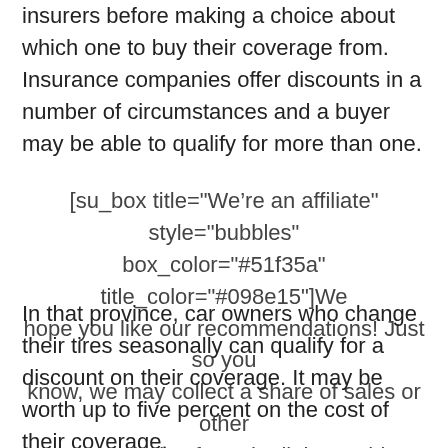insurers before making a choice about which one to buy their coverage from. Insurance companies offer discounts in a number of circumstances and a buyer may be able to qualify for more than one.
[su_box title="We’re an affiliate" style="bubbles" box_color="#51f35a" title_color="#098e15"]We hope you like our recommendations! Just so you know, we may collect a share of sales or other compensation from the links on this page. Thank you for using our links, it is much appreciated. [/su_box]
In that province, car owners who change their tires seasonally can qualify for a discount on their coverage. It may be worth up to five percent on the cost of their coverage.